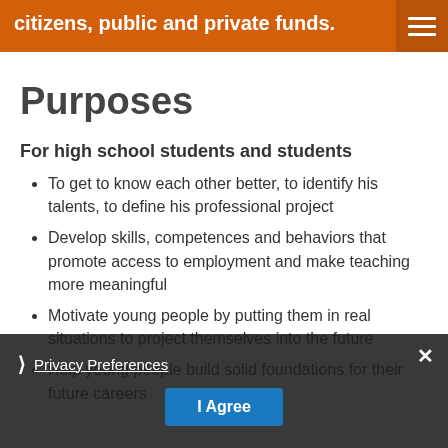citizens, public and private funds.
Purposes
For high school students and students
To get to know each other better, to identify his talents, to define his professional project
Develop skills, competences and behaviors that promote access to employment and make teaching more meaningful
Motivate young people by putting them in real situations to project themselves into the future
Help young people build solid foundations for their future careers
Privacy Preferences | I Agree